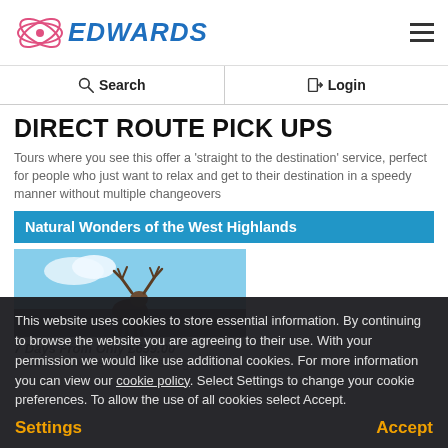EDWARDS — Navigation Header with logo and hamburger menu
| Search | Login |
| --- | --- |
DIRECT ROUTE PICK UPS
Tours where you see this offer a 'straight to the destination' service, perfect for people who just want to relax and get to their destination in a speedy manner without multiple changeovers
Natural Wonders of the West Highlands
[Figure (photo): Photo of a stag/deer with antlers against a blue sky background]
7 Days From Only £659.00
Natural Wonders of the West Highlands
This website uses cookies to store essential information. By continuing to browse the website you are agreeing to their use. With your permission we would like use additional cookies. For more information you can view our cookie policy. Select Settings to change your cookie preferences. To allow the use of all cookies select Accept.
Settings
Accept